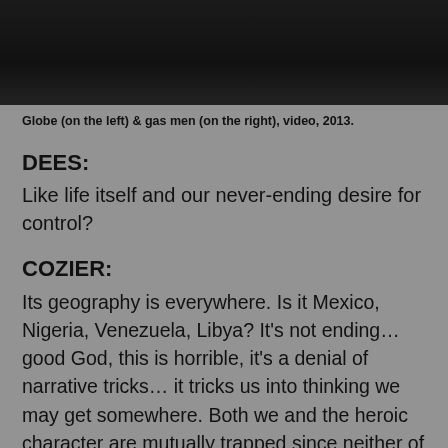[Figure (photo): Dark photograph at top of page showing silhouetted figures against a dark background]
Globe (on the left) & gas men (on the right), video, 2013.
DEES:
Like life itself and our never-ending desire for control?
COZIER:
Its geography is everywhere. Is it Mexico, Nigeria, Venezuela, Libya? It’s not ending… good God, this is horrible, it’s a denial of narrative tricks… it tricks us into thinking we may get somewhere. Both we and the heroic character are mutually trapped since neither of us can arrive at a resolution. There are other things that fascinate me – the fact that the music is produced improvisationally, while viewing projected raw footage for the video in Alice Yard, Bollywood-style almost, and by a Trinidadian singer Caroline Mair Toby and Trinidadian sitar player Sharda Patasar and recorded and mixed by Corey Burnham.
DEES: